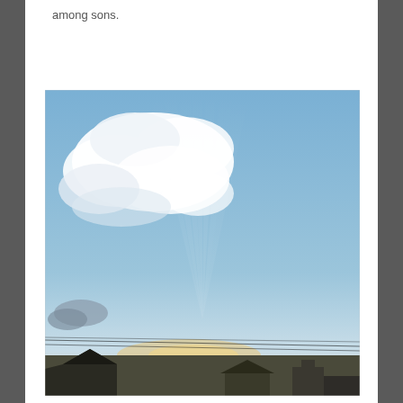among sons.
[Figure (photo): A photograph of a sky scene showing blue sky with wispy white clouds on the left side and crepuscular rays (light beams) radiating upward from behind clouds near the horizon. Rooftops and power lines are visible at the bottom of the image.]